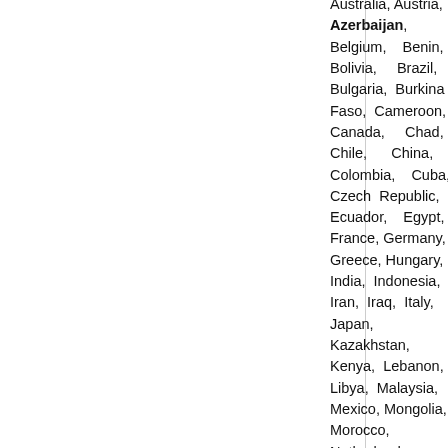Australia, Austria, Azerbaijan, Belgium, Benin, Bolivia, Brazil, Bulgaria, Burkina Faso, Cameroon, Canada, Chad, Chile, China, Colombia, Cuba, Czech Republic, Ecuador, Egypt, France, Germany, Greece, Hungary, India, Indonesia, Iran, Iraq, Italy, Japan, Kazakhstan, Kenya, Lebanon, Libya, Malaysia, Mexico, Mongolia, Morocco, Netherlands,